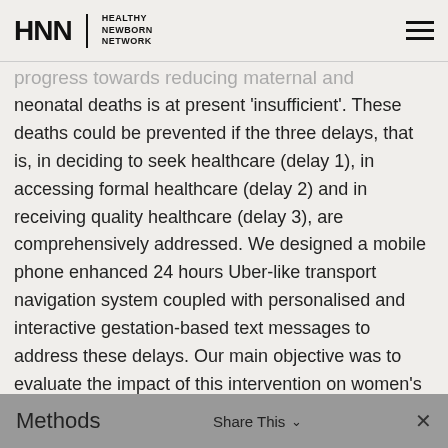HNN | HEALTHY NEWBORN NETWORK
progress towards reducing maternal and neonatal deaths is at present ‘insufficient’. These deaths could be prevented if the three delays, that is, in deciding to seek healthcare (delay 1), in accessing formal healthcare (delay 2) and in receiving quality healthcare (delay 3), are comprehensively addressed. We designed a mobile phone enhanced 24 hours Uber-like transport navigation system coupled with personalised and interactive gestation-based text messages to address these delays. Our main objective was to evaluate the impact of this intervention on women’s adherence to recommended antenatal (ANC) and postnatal care (PNC) regimes and facility birth.
Methods